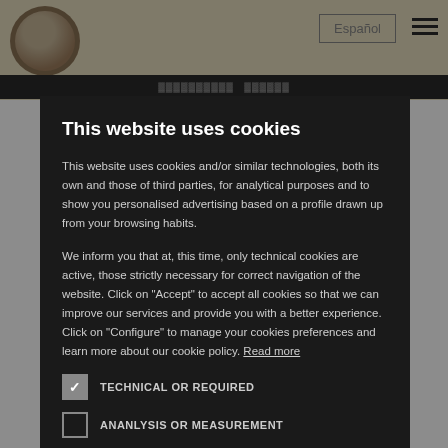[Figure (screenshot): Website header background with logo/avatar image and navigation bar]
This website uses cookies
This website uses cookies and/or similar technologies, both its own and those of third parties, for analytical purposes and to show you personalised advertising based on a profile drawn up from your browsing habits.
We inform you that at, this time, only technical cookies are active, those strictly necessary for correct navigation of the website. Click on "Accept" to accept all cookies so that we can improve our services and provide you with a better experience. Click on "Configure" to manage your cookies preferences and learn more about our cookie policy. Read more
TECHNICAL OR REQUIRED
ANANLYSIS OR MEASUREMENT
ACCEPT ALL
DECLINE ALL